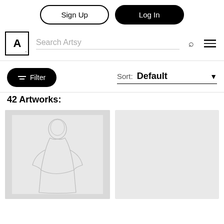Sign Up | Log In
Search Artsy
≡ Filter   Sort: Default ▼
42 Artworks:
[Figure (illustration): Sketch/drawing of a seated elderly bishop or pope in robes, pencil on light gray paper]
[Figure (illustration): Light gray placeholder artwork thumbnail, no visible content]